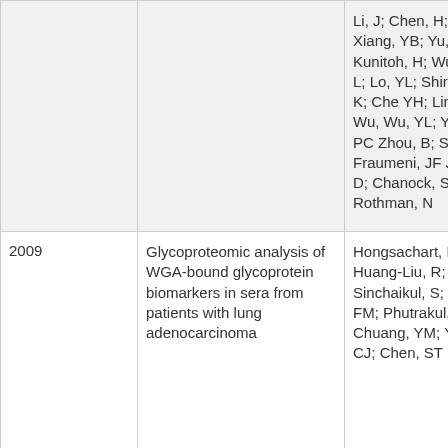| Year | Title | Authors |
| --- | --- | --- |
|  |  | Li, J; Chen, H; Xiang, YB; Yu, CJ; Kunitoh, H; Wu, Jin, L; Lo, YL; Shiraishi, K; Che YH; Lin, HC; Wu, Wu, YL; Yang, PC; Zhou, B; Shin, M; Fraumeni, JF Jr; Lin, D; Chanock, SJ; Rothman, N |
| 2009 | Glycoproteomic analysis of WGA-bound glycoprotein biomarkers in sera from patients with lung adenocarcinoma | Hongsachart, P; Huang-Liu, R; Sinchaikul, S; Pa FM; Phutrakul, S; Chuang, YM; Yu, CJ; Chen, ST |